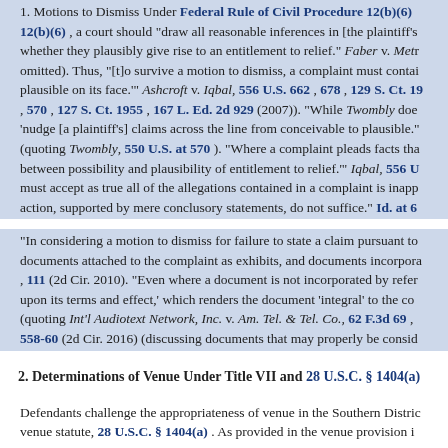1. Motions to Dismiss Under Federal Rule of Civil Procedure 12(b)(6). 12(b)(6), a court should "draw all reasonable inferences in [the plaintiff's] whether they plausibly give rise to an entitlement to relief." Faber v. Metr omitted). Thus, "[t]o survive a motion to dismiss, a complaint must contai plausible on its face.'" Ashcroft v. Iqbal, 556 U.S. 662, 678, 129 S. Ct. 19, 570, 127 S. Ct. 1955, 167 L. Ed. 2d 929 (2007)). "While Twombly doe 'nudge [a plaintiff's] claims across the line from conceivable to plausible." (quoting Twombly, 550 U.S. at 570). "Where a complaint pleads facts tha between possibility and plausibility of entitlement to relief.'" Iqbal, 556 U must accept as true all of the allegations contained in a complaint is inapp action, supported by mere conclusory statements, do not suffice." Id. at 6
"In considering a motion to dismiss for failure to state a claim pursuant to documents attached to the complaint as exhibits, and documents incorpora, 111 (2d Cir. 2010). "Even where a document is not incorporated by refer upon its terms and effect,' which renders the document 'integral' to the co (quoting Int'l Audiotext Network, Inc. v. Am. Tel. & Tel. Co., 62 F.3d 69, 558-60 (2d Cir. 2016) (discussing documents that may properly be consid
2. Determinations of Venue Under Title VII and 28 U.S.C. § 1404(a)
Defendants challenge the appropriateness of venue in the Southern Distric venue statute, 28 U.S.C. § 1404(a). As provided in the venue provision i
Such an action may be brought in any judicial district in the State i committed, in the judicial district in which the employment records district in which the aggrieved person would have worked but for t